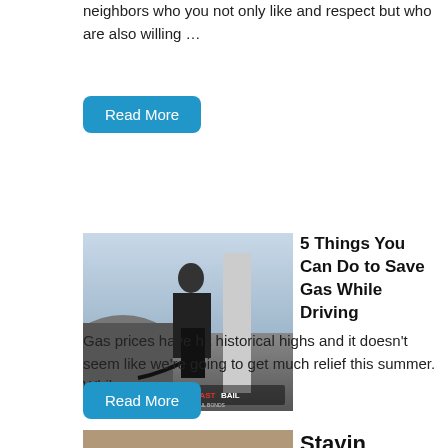neighbors who you not only like and respect but who are also willing …
Read More
[Figure (photo): A young man in a black jacket and red plaid shirt leaning on a car door at a gas station, pumping gas. A FASTBAIL BAIL BONDS watermark is visible.]
5 Things You Can Do to Save Gas While Driving
Gas prices have hit historical highs and it doesn't seem like we're going to get much relief this summer. While …
Read More
[Figure (photo): Partial bottom strip of another article image]
Stayin